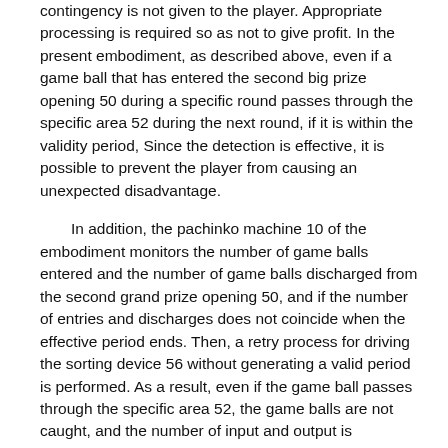contingency is not given to the player. Appropriate processing is required so as not to give profit. In the present embodiment, as described above, even if a game ball that has entered the second big prize opening 50 during a specific round passes through the specific area 52 during the next round, if it is within the validity period, Since the detection is effective, it is possible to prevent the player from causing an unexpected disadvantage.
In addition, the pachinko machine 10 of the embodiment monitors the number of game balls entered and the number of game balls discharged from the second grand prize opening 50, and if the number of entries and discharges does not coincide when the effective period ends. Then, a retry process for driving the sorting device 56 without generating a valid period is performed. As a result, even if the game ball passes through the specific area 52, the game balls are not caught, and the number of input and output is inconsistent without giving the player a privilege based on the passage of the game ball to the specific area 52. Can be properly resolved. In addition, if an error that does not match the number of incoming and outgoing has occurred (if it can not be canceled even by retry